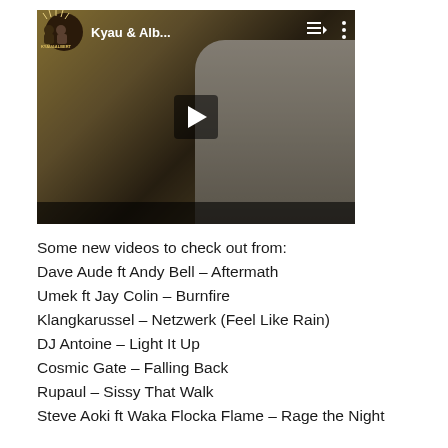[Figure (screenshot): YouTube video thumbnail showing a blonde person in a light hoodie, with vegetation in the background. The video is from the channel 'Kyau & Alb...' with a play button overlay, playlist icon, and more options icon visible in the top bar.]
Some new videos to check out from:
Dave Aude ft Andy Bell – Aftermath
Umek ft Jay Colin – Burnfire
Klangkarussel – Netzwerk (Feel Like Rain)
DJ Antoine – Light It Up
Cosmic Gate – Falling Back
Rupaul – Sissy That Walk
Steve Aoki ft Waka Flocka Flame – Rage the Night